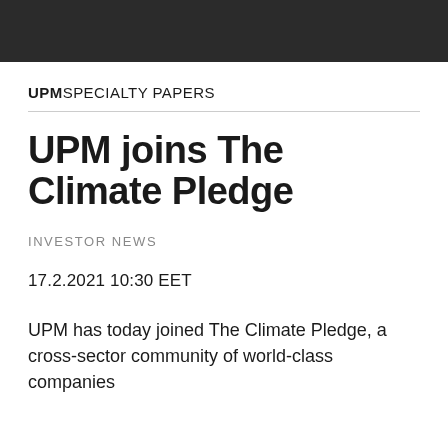UPM SPECIALTY PAPERS
UPM joins The Climate Pledge
INVESTOR NEWS
17.2.2021 10:30 EET
UPM has today joined The Climate Pledge, a cross-sector community of world-class companies